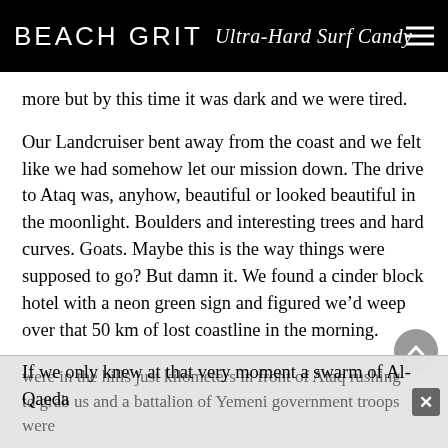BEACH GRIT Ultra-Hard Surf Candy
more but by this time it was dark and we were tired.
Our Landcruiser bent away from the coast and we felt like we had somehow let our mission down. The drive to Ataq was, anyhow, beautiful or looked beautiful in the moonlight. Boulders and interesting trees and hard curves. Goats. Maybe this is the way things were supposed to go? But damn it. We found a cinder block hotel with a neon green sign and figured we’d weep over that 50 km of lost coastline in the morning.
If we only knew at that very moment a swarm of Al-Qaeda
were in the hills just kilometers in front of Ataq rushing to grab us and a battalion of Yemeni government troops were